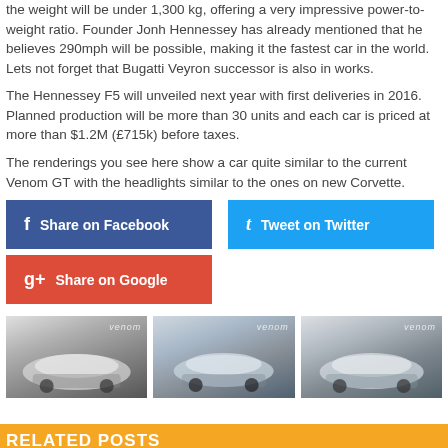the weight will be under 1,300 kg, offering a very impressive power-to-weight ratio. Founder Jonh Hennessey has already mentioned that he believes 290mph will be possible, making it the fastest car in the world. Lets not forget that Bugatti Veyron successor is also in works.
The Hennessey F5 will unveiled next year with first deliveries in 2016. Planned production will be more than 30 units and each car is priced at more than $1.2M (£715k) before taxes.
The renderings you see here show a car quite similar to the current Venom GT with the headlights similar to the ones on new Corvette.
Share on Facebook
Tweet on Twitter
Share on Google
[Figure (photo): Three thumbnail images of the Hennessey Venom F5 car renderings]
RELATED POSTS